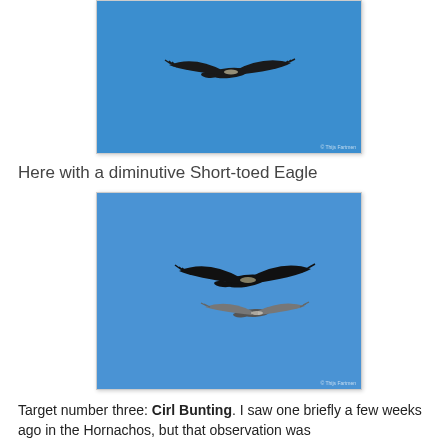[Figure (photo): A bird (stork or large raptor) flying against a clear blue sky, seen from below/side. Single bird in flight. Small watermark bottom-right reading '© Thijs Fartmen' or similar.]
Here with a diminutive Short-toed Eagle
[Figure (photo): Two birds flying against a clear blue sky — a large dark bird (Black Stork or similar) and a smaller Short-toed Eagle below it. Small watermark bottom-right.]
Target number three: Cirl Bunting. I saw one briefly a few weeks ago in the Hornachos, but that observation was